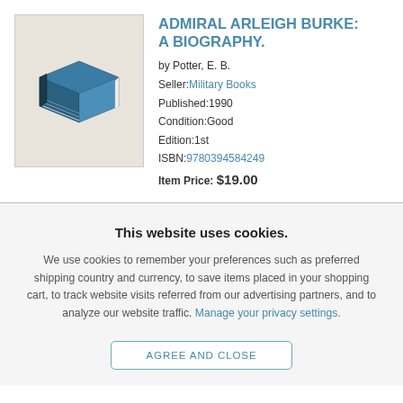[Figure (illustration): Isometric illustration of a blue book on a light beige background]
ADMIRAL ARLEIGH BURKE: A BIOGRAPHY.
by Potter, E. B.
Seller: Military Books
Published: 1990
Condition: Good
Edition: 1st
ISBN: 9780394584249
Item Price: $19.00
This website uses cookies.
We use cookies to remember your preferences such as preferred shipping country and currency, to save items placed in your shopping cart, to track website visits referred from our advertising partners, and to analyze our website traffic. Manage your privacy settings.
AGREE AND CLOSE